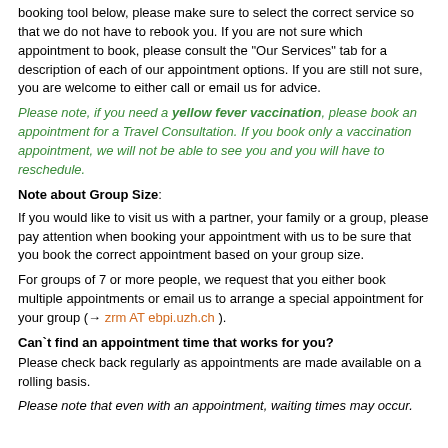booking tool below, please make sure to select the correct service so that we do not have to rebook you. If you are not sure which appointment to book, please consult the "Our Services" tab for a description of each of our appointment options. If you are still not sure, you are welcome to either call or email us for advice.
Please note, if you need a yellow fever vaccination, please book an appointment for a Travel Consultation. If you book only a vaccination appointment, we will not be able to see you and you will have to reschedule.
Note about Group Size:
If you would like to visit us with a partner, your family or a group, please pay attention when booking your appointment with us to be sure that you book the correct appointment based on your group size.
For groups of 7 or more people, we request that you either book multiple appointments or email us to arrange a special appointment for your group (→ zrm AT ebpi.uzh.ch ).
Can`t find an appointment time that works for you?
Please check back regularly as appointments are made available on a rolling basis.
Please note that even with an appointment, waiting times may occur.